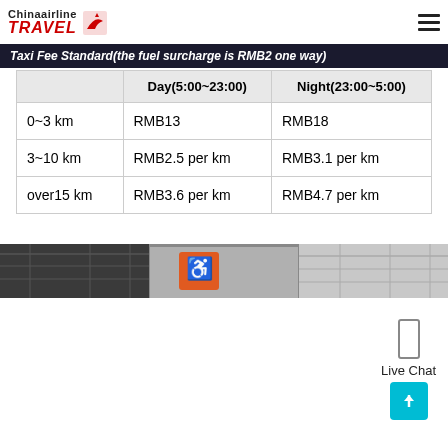Chinaairline TRAVEL
Taxi Fee Standard(the fuel surcharge is RMB2 one way)
|  | Day(5:00~23:00) | Night(23:00~5:00) |
| --- | --- | --- |
| 0~3 km | RMB13 | RMB18 |
| 3~10 km | RMB2.5 per km | RMB3.1 per km |
| over15 km | RMB3.6 per km | RMB4.7 per km |
[Figure (photo): Airport interior photo strip showing ceiling and signage]
Live Chat